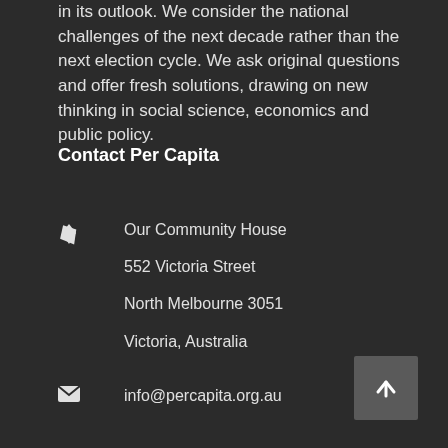in its outlook. We consider the national challenges of the next decade rather than the next election cycle. We ask original questions and offer fresh solutions, drawing on new thinking in social science, economics and public policy.
Contact Per Capita
Our Community House
552 Victoria Street
North Melbourne 3051
Victoria, Australia
info@percapita.org.au